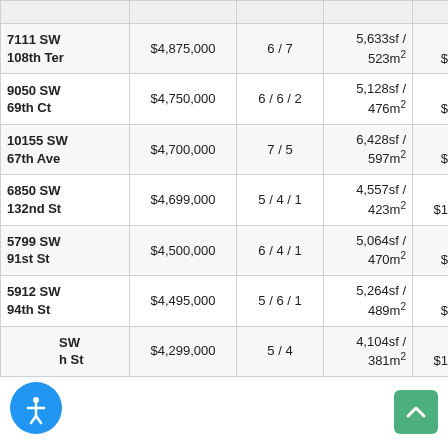| Address | Price | Bed/Bath | Size | Price/Size |
| --- | --- | --- | --- | --- |
| 7111 SW 108th Ter | $4,875,000 | 6 / 7 | 5,633sf / 523m² | $865 / $9,316m² |
| 9050 SW 69th Ct | $4,750,000 | 6 / 6 / 2 | 5,128sf / 476m² | $926 / $9,971m² |
| 10155 SW 67th Ave | $4,700,000 | 7 / 5 | 6,428sf / 597m² | $731 / $7,871m² |
| 6850 SW 132nd St | $4,699,000 | 5 / 4 / 1 | 4,557sf / 423m² | $1,031 / $11,100m² |
| 5799 SW 91st St | $4,500,000 | 6 / 4 / 1 | 5,064sf / 470m² | $889 / $9,565m² |
| 5912 SW 94th St | $4,495,000 | 5 / 6 / 1 | 5,264sf / 489m² | $854 / $9,192m² |
| [...] SW [...] St | $4,299,000 | 5 / 4 | 4,104sf / 381m² | $1,048 / $11,276m² |